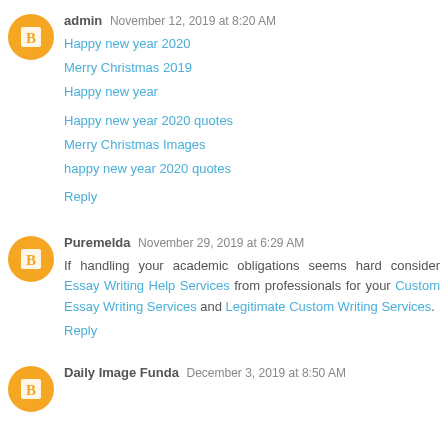admin  November 12, 2019 at 8:20 AM
Happy new year 2020
Merry Christmas 2019
Happy new year

Happy new year 2020 quotes
Merry Christmas Images
happy new year 2020 quotes
Reply
Puremelda  November 29, 2019 at 6:29 AM
If handling your academic obligations seems hard consider Essay Writing Help Services from professionals for your Custom Essay Writing Services and Legitimate Custom Writing Services.
Reply
Daily Image Funda  December 3, 2019 at 8:50 AM